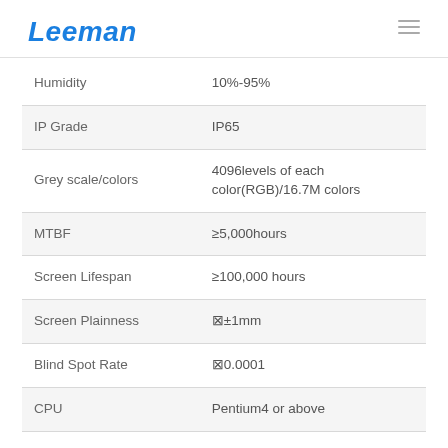Leeman
| Parameter | Value |
| --- | --- |
| Humidity | 10%-95% |
| IP Grade | IP65 |
| Grey scale/colors | 4096levels of each color(RGB)/16.7M colors |
| MTBF | ≥5,000hours |
| Screen Lifespan | ≥100,000 hours |
| Screen Plainness | ⊠±1mm |
| Blind Spot Rate | ⊠0.0001 |
| CPU | Pentium4 or above |